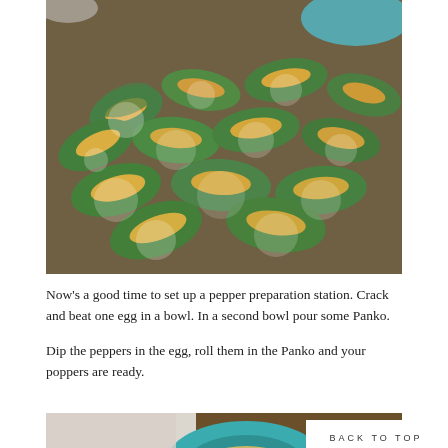[Figure (photo): Cheese-stuffed jalapeño poppers coated in flour/panko, piled on a wooden surface, with a teal bowl visible in the background]
Now's a good time to set up a pepper preparation station. Crack and beat one egg in a bowl. In a second bowl pour some Panko.
Dip the peppers in the egg, roll them in the Panko and your poppers are ready.
[Figure (photo): Preparation station showing bowls with panko breadcrumbs and beaten egg on a wooden surface]
BACK TO TOP